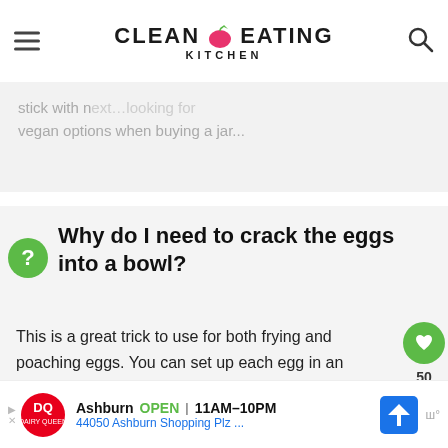CLEAN EATING KITCHEN
stick with next...ooking for vegan options when buying a jar...
Why do I need to crack the eggs into a bowl?
This is a great trick to use for both frying and poaching eggs. You can set up each egg in an individual bowl, which allows you to check for any stray pieces of shell and make sure your egg yolk remains intact. Then you will simply tip the egg into the
Ashburn OPEN 11AM-10PM 44050 Ashburn Shopping Plz ...